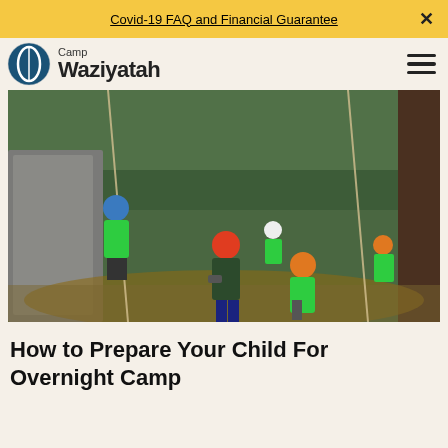Covid-19 FAQ and Financial Guarantee  ×
[Figure (logo): Camp Waziyatah logo with circular emblem and text 'Camp Waziyatah']
[Figure (photo): Children and a camp counselor rock climbing outdoors in a forest, wearing green shirts and colorful helmets with harnesses]
How to Prepare Your Child For Overnight Camp